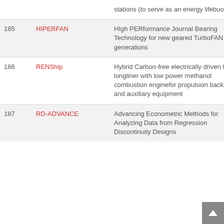| # | Name | Description |
| --- | --- | --- |
|  |  | stations (to serve as an energy lifebuoy) |
| 185 | HIPERFAN | HIgh PERformance Journal Bearing Technology for new geared TurboFAN generations |
| 186 | RENShip | Hybrid Carbon-free electrically driven fishing longliner with low power methanol combustion enginefor propulsion back-up and auxiliary equipment |
| 187 | RD-ADVANCE | Advancing Econometric Methods for Analyzing Data from Regression Discontinuity Designs |